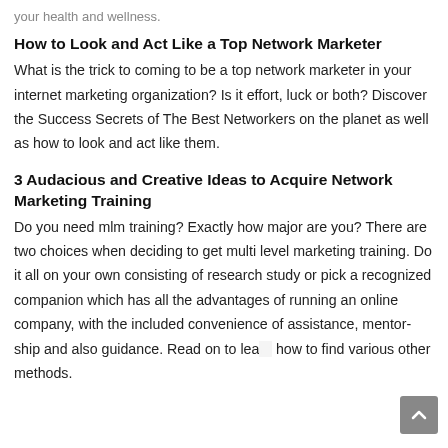your health and wellness.
How to Look and Act Like a Top Network Marketer
What is the trick to coming to be a top network marketer in your internet marketing organization? Is it effort, luck or both? Discover the Success Secrets of The Best Networkers on the planet as well as how to look and act like them.
3 Audacious and Creative Ideas to Acquire Network Marketing Training
Do you need mlm training? Exactly how major are you? There are two choices when deciding to get multi level marketing training. Do it all on your own consisting of research study or pick a recognized companion which has all the advantages of running an online company, with the included convenience of assistance, mentor-ship and also guidance. Read on to learn how to find various other methods.